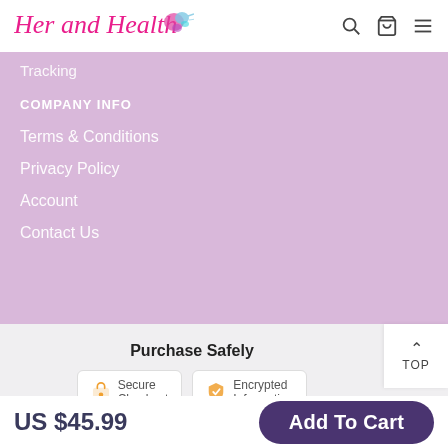[Figure (logo): Her and Health logo with colorful paint splash]
Tracking
COMPANY INFO
Terms & Conditions
Privacy Policy
Account
Contact Us
Purchase Safely
[Figure (infographic): Secure Checkout and Encrypted Information badges]
US $45.99
Add To Cart